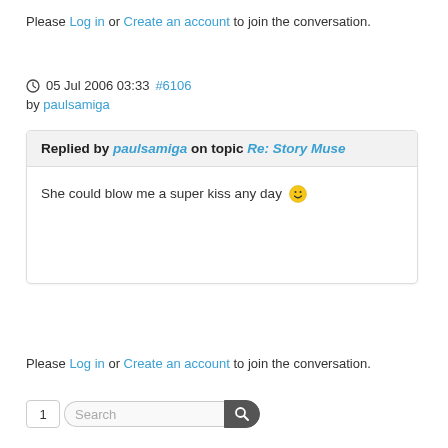Please Log in or Create an account to join the conversation.
05 Jul 2006 03:33 #6106 by paulsamiga
Replied by paulsamiga on topic Re: Story Muse
She could blow me a super kiss any day 🙂
Please Log in or Create an account to join the conversation.
Search